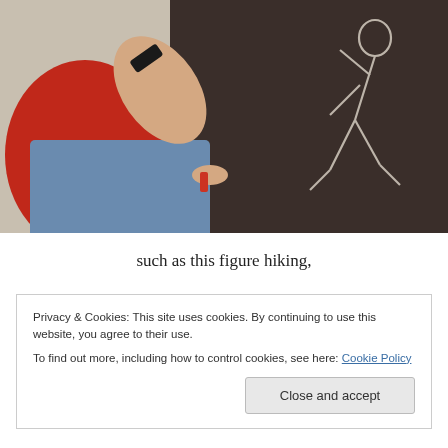[Figure (photo): A child drawing a chalk outline of a hiking figure on dark brown/black paper. The child is wearing a red shirt and jeans, with a wristband visible. The figure outline on dark paper shows a person in a hiking pose.]
such as this figure hiking,
Privacy & Cookies: This site uses cookies. By continuing to use this website, you agree to their use.
To find out more, including how to control cookies, see here: Cookie Policy
Close and accept